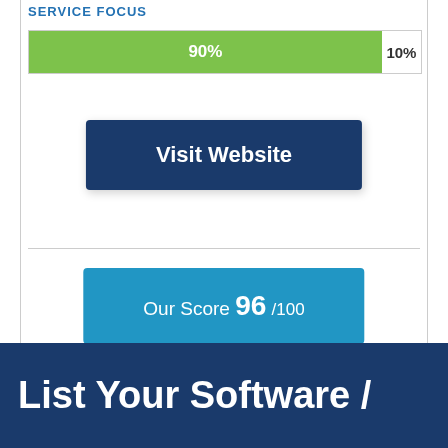SERVICE FOCUS
[Figure (bar-chart): Service Focus]
Visit Website
Our Score 96 /100
List Your Software /